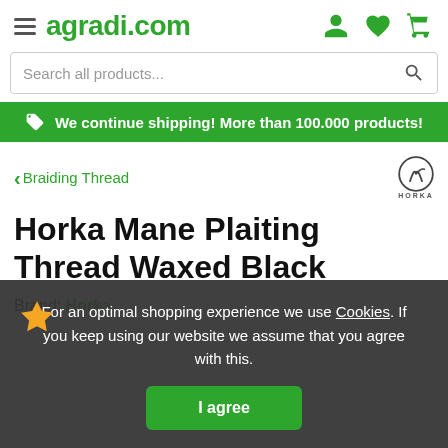agradi.com
Search all products...
We continue shipping! More than 100.000 products!
‹ Braiding Thread
Horka Mane Plaiting Thread Waxed Black
Brand: Horka
For an optimal shopping experience we use Cookies. If you keep using our website we assume that you agree with this.
I agree